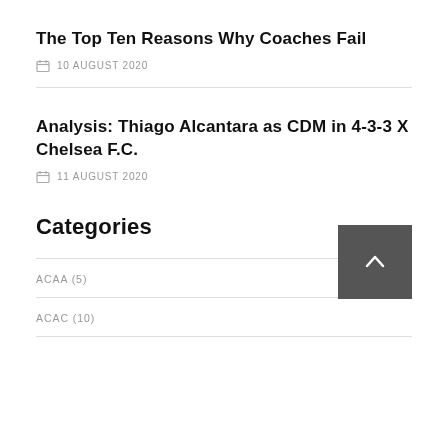The Top Ten Reasons Why Coaches Fail
10 AUGUST 2020
Analysis: Thiago Alcantara as CDM in 4-3-3 X Chelsea F.C.
11 AUGUST 2020
Categories
ACAA (5)
ACAC (10)